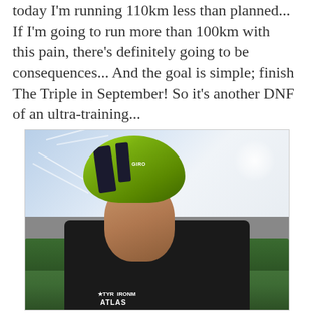today I'm running 110km less than planned... If I'm going to run more than 100km with this pain, there's definitely going to be consequences... And the goal is simple; finish The Triple in September! So it's another DNF of an ultra-training...
[Figure (photo): A person wearing a bright green cycling helmet and dark jersey, photographed outdoors with a blue sky showing contrails, green fields and hedgerows, and a farm building in the background.]